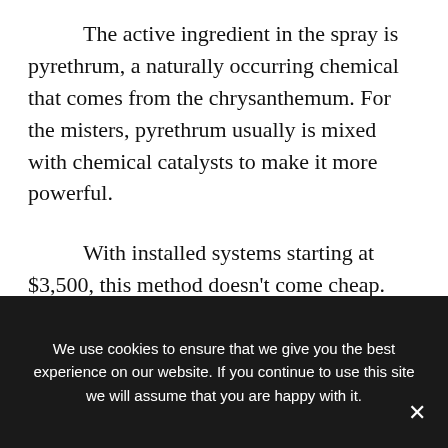The active ingredient in the spray is pyrethrum, a naturally occurring chemical that comes from the chrysanthemum. For the misters, pyrethrum usually is mixed with chemical catalysts to make it more powerful.
With installed systems starting at $3,500, this method doesn't come cheap. But Steve Herndon, owner of Jackson's of Dallas , which sells a similar misting system, says many people aren't deterred
We use cookies to ensure that we give you the best experience on our website. If you continue to use this site we will assume that you are happy with it.